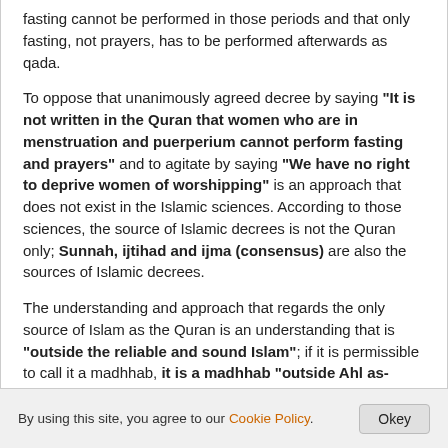fasting cannot be performed in those periods and that only fasting, not prayers, has to be performed afterwards as qada.
To oppose that unanimously agreed decree by saying "It is not written in the Quran that women who are in menstruation and puerperium cannot perform fasting and prayers" and to agitate by saying "We have no right to deprive women of worshipping" is an approach that does not exist in the Islamic sciences. According to those sciences, the source of Islamic decrees is not the Quran only; Sunnah, ijtihad and ijma (consensus) are also the sources of Islamic decrees.
The understanding and approach that regards the only source of Islam as the Quran is an understanding that is "outside the reliable and sound Islam"; if it is permissible to call it a madhhab, it is a madhhab "outside Ahl as-Sunnah"; it does not bind Sunni Muslims.
By using this site, you agree to our Cookie Policy. Okey